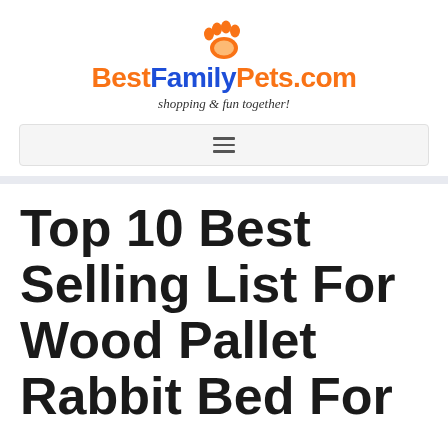[Figure (logo): BestFamilyPets.com logo with orange paw print above text. 'Best' in orange, 'Family' in blue, 'Pets.com' in orange. Tagline: 'shopping & fun together!' in italic below.]
Top 10 Best Selling List For Wood Pallet Rabbit Bed For